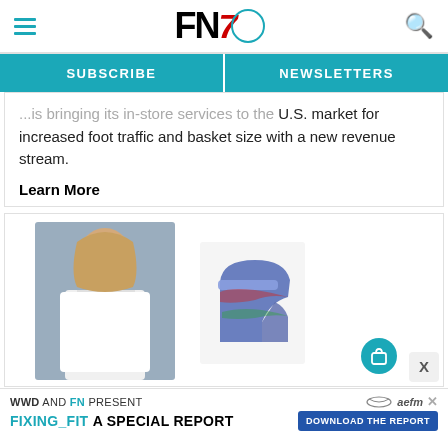FN7 [logo with hamburger menu and search icon]
SUBSCRIBE | NEWSLETTERS
...is bringing its in-store services to the U.S. market for increased foot traffic and basket size with a new revenue stream.
Learn More
[Figure (photo): Ad image showing a woman in a white shirt with a colorful high-heel shoe and shopping bag icon]
WWD AND FN PRESENT | aefm X | FIXING_FIT A SPECIAL REPORT | DOWNLOAD THE REPORT